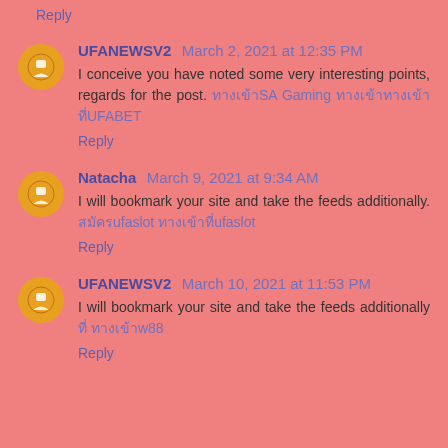Reply
UFANEWSV2 March 2, 2021 at 12:35 PM
I conceive you have noted some very interesting points, regards for the post. [Thai]SA Gaming [Thai][Thai]UFABET
Reply
Natacha March 9, 2021 at 9:34 AM
I will bookmark your site and take the feeds additionally. [Thai]ufaslot [Thai]ufaslot
Reply
UFANEWSV2 March 10, 2021 at 11:53 PM
I will bookmark your site and take the feeds additionally [Thai] [Thai]w88
Reply